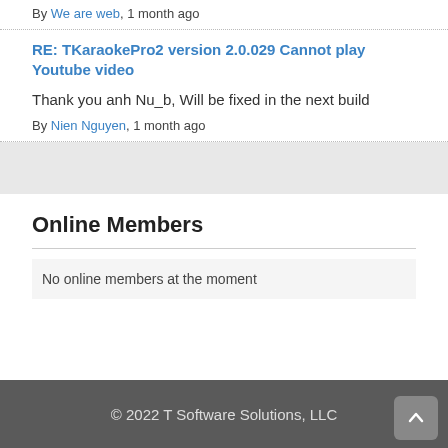By We are web, 1 month ago
RE: TKaraokePro2 version 2.0.029 Cannot play Youtube video
Thank you anh Nu_b, Will be fixed in the next build
By Nien Nguyen, 1 month ago
Online Members
No online members at the moment
© 2022 T Software Solutions, LLC